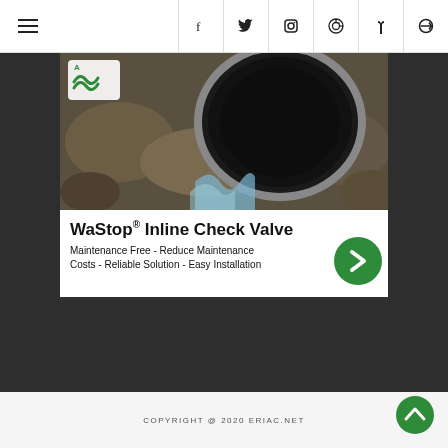Navigation header with hamburger menu and social icons: f, twitter, instagram, pinterest, tumblr, search
[Figure (photo): WaStop Inline Check Valve advertisement showing a large circular pipe/valve installed in rocky terrain with water flowing, with company logo in upper left corner. Below the photo is a white banner with bold text 'WaStop® Inline Check Valve' and subtitle 'Maintenance Free - Reduce Maintenance Costs - Reliable Solution - Easy Installation' with a green circular arrow button on the right.]
COPYRIGHT @ 2020 ERIAC.NET